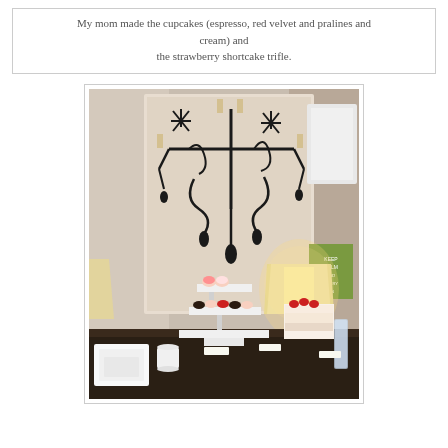My mom made the cupcakes (espresso, red velvet and pralines and cream) and the strawberry shortcake trifle.
[Figure (photo): A dessert table with a tiered cupcake stand holding assorted cupcakes, a strawberry shortcake trifle on the right, a glowing table lamp, and a large black chandelier artwork on the wall behind. White square plates and cups on the dark table in the foreground.]